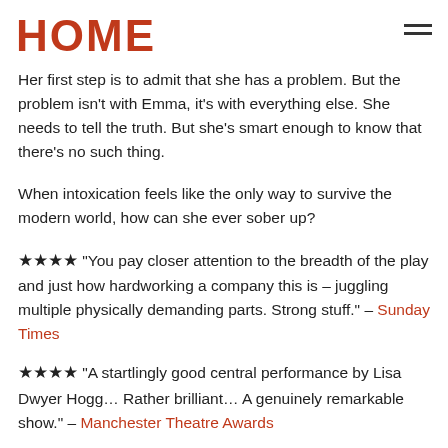HOME
Her first step is to admit that she has a problem. But the problem isn't with Emma, it's with everything else. She needs to tell the truth. But she's smart enough to know that there's no such thing.
When intoxication feels like the only way to survive the modern world, how can she ever sober up?
★★★★ "You pay closer attention to the breadth of the play and just how hardworking a company this is – juggling multiple physically demanding parts. Strong stuff." – Sunday Times
★★★★ "A startlingly good central performance by Lisa Dwyer Hogg… Rather brilliant… A genuinely remarkable show." – Manchester Theatre Awards
★★★★½ "Will live long in the memory. Heart-wrenching, brave, bold, and beautiful. For anyone addicted to theatre…